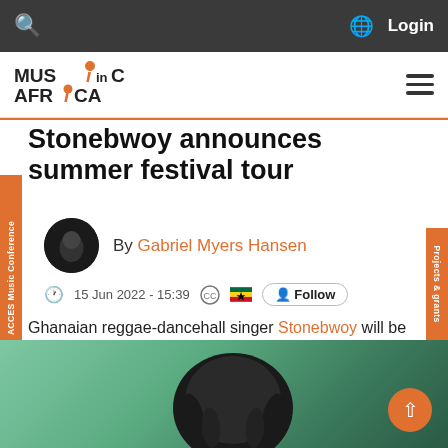Music in Africa – top navigation bar with search, globe, and Login
[Figure (logo): Music in Africa logo with orange dot above the letter I]
Stonebwoy announces summer festival tour
By Gabriel Myers Hansen
15 Jun 2022 - 15:39
Ghanaian reggae-dancehall singer Stonebwoy will be embarking on a summer festival tour in support of his latest single 'Therapy'.
[Figure (photo): Partial photo of Stonebwoy at bottom of page]